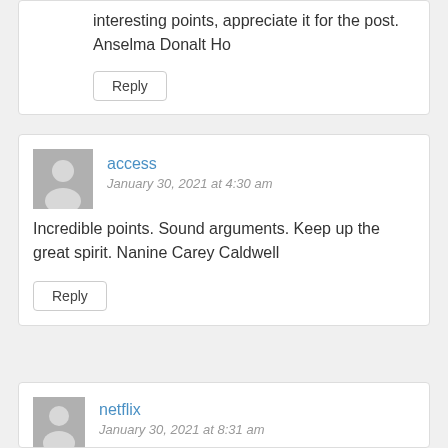interesting points, appreciate it for the post. Anselma Donalt Ho
Reply
access
January 30, 2021 at 4:30 am
Incredible points. Sound arguments. Keep up the great spirit. Nanine Carey Caldwell
Reply
netflix
January 30, 2021 at 8:31 am